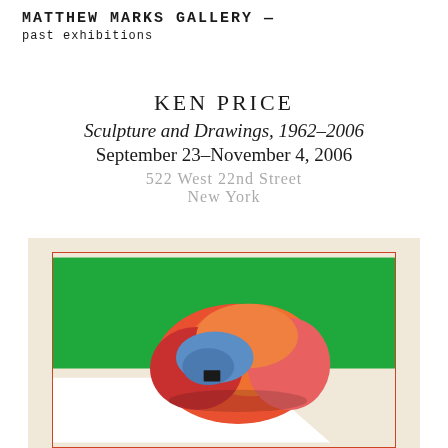MATTHEW MARKS GALLERY — past exhibitions
KEN PRICE
Sculpture and Drawings, 1962–2006
September 23–November 4, 2006
522 West 22nd Street
New York
[Figure (photo): Artwork showing an abstract organic sculpture form with blue, orange, red, and pink colors against a bright green background, with white surface below. Displayed on cream/beige paper within a red-orange border.]